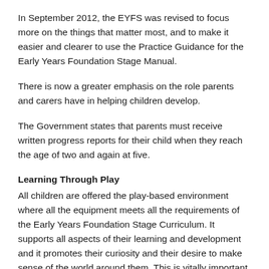In September 2012, the EYFS was revised to focus more on the things that matter most, and to make it easier and clearer to use the Practice Guidance for the Early Years Foundation Stage Manual.
There is now a greater emphasis on the role parents and carers have in helping children develop.
The Government states that parents must receive written progress reports for their child when they reach the age of two and again at five.
Learning Through Play
All children are offered the play-based environment where all the equipment meets all the requirements of the Early Years Foundation Stage Curriculum. It supports all aspects of their learning and development and it promotes their curiosity and their desire to make sense of the world around them. This is vitally important if children are going to remain keen learners for